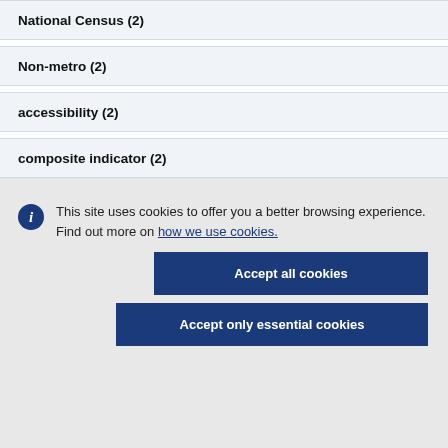National Census (2)
Non-metro (2)
accessibility (2)
composite indicator (2)
This site uses cookies to offer you a better browsing experience. Find out more on how we use cookies.
Accept all cookies
Accept only essential cookies